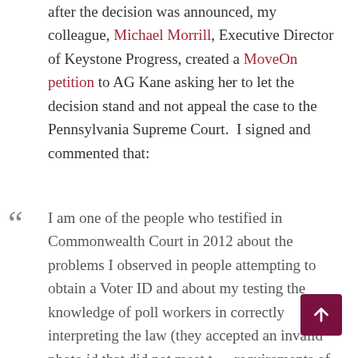after the decision was announced, my colleague, Michael Morrill, Executive Director of Keystone Progress, created a MoveOn petition to AG Kane asking her to let the decision stand and not appeal the case to the Pennsylvania Supreme Court.  I signed and commented that:
I am one of the people who testified in Commonwealth Court in 2012 about the problems I observed in people attempting to obtain a Voter ID and about my testing the knowledge of poll workers in correctly interpreting the law (they accepted an invalid photo id that did not meet the requirements of the law during the testing period before the law was enjoined; I used it again at another election and once again, they told me it was